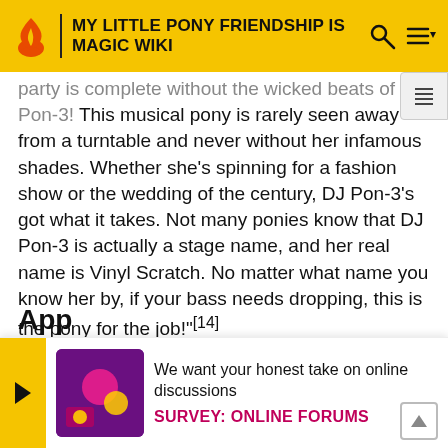MY LITTLE PONY FRIENDSHIP IS MAGIC WIKI
party is complete without the wicked beats of DJ Pon-3! This musical pony is rarely seen away from a turntable and never without her infamous shades. Whether she's spinning for a fashion show or the wedding of the century, DJ Pon-3's got what it takes. Not many ponies know that DJ Pon-3 is actually a stage name, and her real name is Vinyl Scratch. No matter what name you know her by, if your bass needs dropping, this is the pony for the job!"[14]
WeLoveFine sells several fan-designed T-shirts and other merchandise featuring DJ Pon-3. One bears the name "Vinyl Scratch" and the titles of some others refer to her by th
App
We want your honest take on online discussions
SURVEY: ONLINE FORUMS